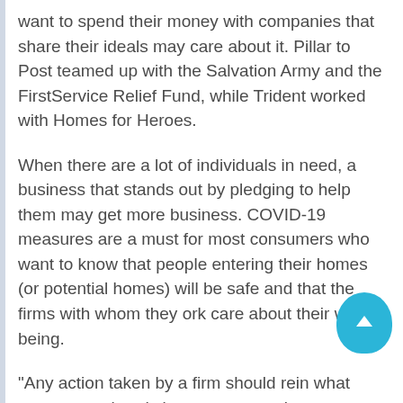want to spend their money with companies that share their ideals may care about it. Pillar to Post teamed up with the Salvation Army and the FirstService Relief Fund, while Trident worked with Homes for Heroes.
When there are a lot of individuals in need, a business that stands out by pledging to help them may get more business. COVID-19 measures are a must for most consumers who want to know that people entering their homes (or potential homes) will be safe and that the firms with whom they ork care about their well-being.
“Any action taken by a firm should rein what customers already know – corporations care and are prepared to spend in assisting